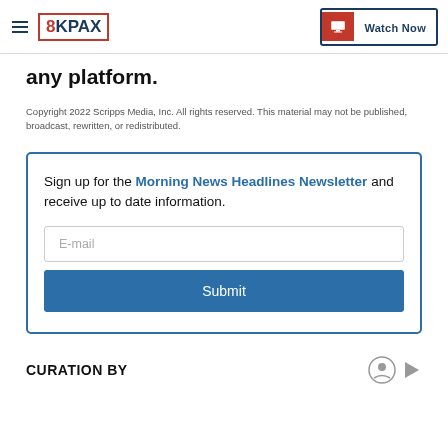8KPAX | Watch Now
any platform.
Copyright 2022 Scripps Media, Inc. All rights reserved. This material may not be published, broadcast, rewritten, or redistributed.
Sign up for the Morning News Headlines Newsletter and receive up to date information.
CURATION BY